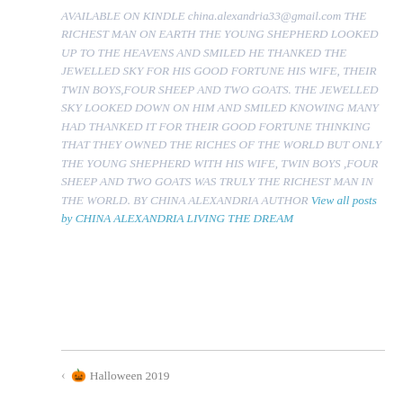AVAILABLE ON KINDLE china.alexandria33@gmail.com THE RICHEST MAN ON EARTH THE YOUNG SHEPHERD LOOKED UP TO THE HEAVENS AND SMILED HE THANKED THE JEWELLED SKY FOR HIS GOOD FORTUNE HIS WIFE, THEIR TWIN BOYS,FOUR SHEEP AND TWO GOATS. THE JEWELLED SKY LOOKED DOWN ON HIM AND SMILED KNOWING MANY HAD THANKED IT FOR THEIR GOOD FORTUNE THINKING THAT THEY OWNED THE RICHES OF THE WORLD BUT ONLY THE YOUNG SHEPHERD WITH HIS WIFE, TWIN BOYS ,FOUR SHEEP AND TWO GOATS WAS TRULY THE RICHEST MAN IN THE WORLD. BY CHINA ALEXANDRIA AUTHOR View all posts by CHINA ALEXANDRIA LIVING THE DREAM
< 🎃 Halloween 2019